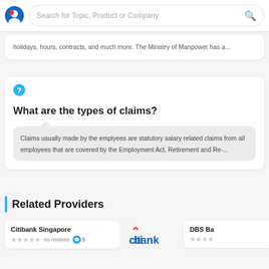Search for Topic, Product or Company
holidays, hours, contracts, and much more. The Ministry of Manpower has a...
What are the types of claims?
Claims usually made by the emplyees are statutory salary related claims from all employees that are covered by the Employment Act, Retirement and Re-...
Related Providers
Citibank Singapore
★★★★★ no reviews 💬 5
DBS Ba
★★★★